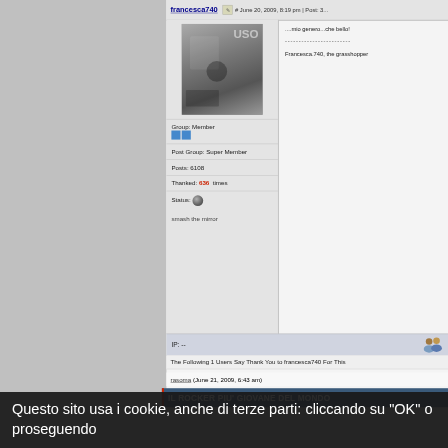francesca740  # June 20, 2009, 8:19 pm | Post: 3...
[Figure (photo): Black and white photo of a person playing drums]
Group: Member
Post Group: Super Member
Posts: 6108
Thanked: 636 times
Status: [sphere icon]
smash the mirror
....mio genero...che bello!
------------------------
Francesca.740, the grasshopper
IP: --
The Following 1 Users Say Thank You to francesca740 For This
rasoma (June 21, 2009, 6:43 am)
IL ROCKER PIU' GIOVANE DEL MONDO
Questo sito usa i cookie, anche di terze parti: cliccando su "OK" o proseguendo